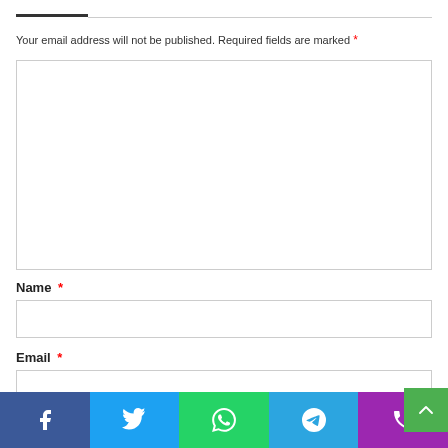Your email address will not be published. Required fields are marked *
[Figure (other): Comment text area input box (empty)]
Name *
[Figure (other): Name input field (empty)]
Email *
[Figure (other): Email input field (empty)]
[Figure (other): Social share bar with Facebook, Twitter, WhatsApp, Telegram, Phone icons]